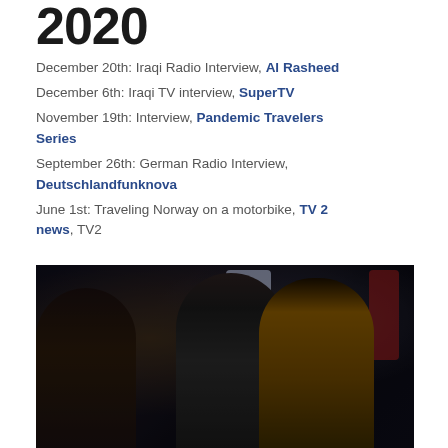2020
December 20th: Iraqi Radio Interview, Al Rasheed
December 6th: Iraqi TV interview, SuperTV
November 19th: Interview, Pandemic Travelers Series
September 26th: German Radio Interview, Deutschlandfunknova
June 1st: Traveling Norway on a motorbike, TV 2 news, TV2
[Figure (photo): Three people in a dimly lit event venue; a man in a black and white checkered shirt holding a microphone interviews or speaks with others, including a person on the left and a man in a brown/orange jacket on the right.]